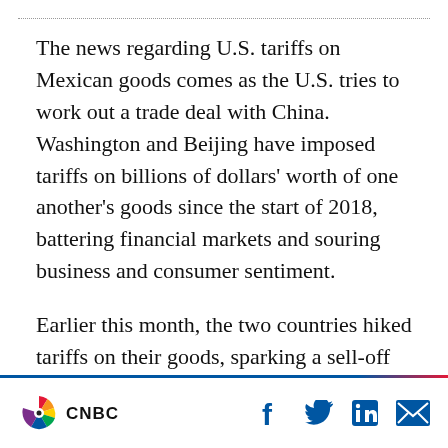The news regarding U.S. tariffs on Mexican goods comes as the U.S. tries to work out a trade deal with China. Washington and Beijing have imposed tariffs on billions of dollars’ worth of one another’s goods since the start of 2018, battering financial markets and souring business and consumer sentiment.
Earlier this month, the two countries hiked tariffs on their goods, sparking a sell-off in equities.
The “worst case scenario is foreign governments
CNBC | social icons: Facebook, Twitter, LinkedIn, Mail